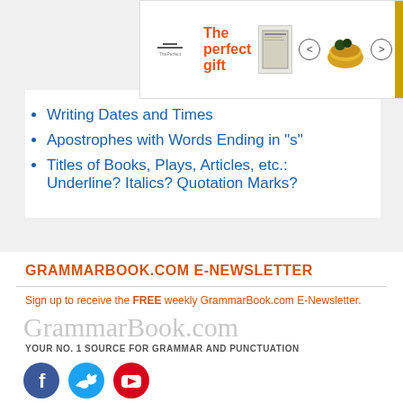[Figure (screenshot): Advertisement banner with gift offer, navigation arrows, food image, and 35% OFF FREE SHIPPING gold badge. Close X button top right.]
Writing Dates and Times
Apostrophes with Words Ending in "s"
Titles of Books, Plays, Articles, etc.: Underline? Italics? Quotation Marks?
GRAMMARBOOK.COM E-NEWSLETTER
Sign up to receive the FREE weekly GrammarBook.com E-Newsletter.
GrammarBook.com
YOUR NO. 1 SOURCE FOR GRAMMAR AND PUNCTUATION
[Figure (logo): Social media icons: Facebook (blue circle with f), Twitter (light blue circle with bird), YouTube (red circle with play button)]
Web Design by weblinxinc.com
© 2022 GrammarBook.com